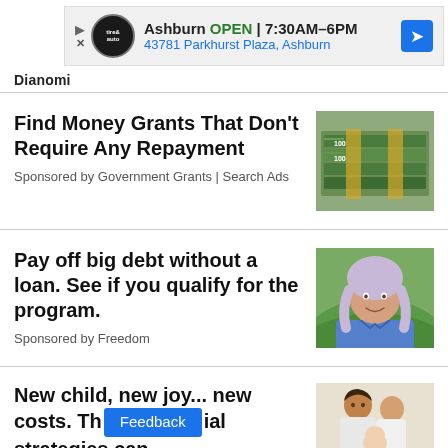[Figure (other): Ad banner for Tire & Auto (Ashburn location): OPEN 7:30AM-6PM, 43781 Parkhurst Plaza, Ashburn]
Dianomi
Find Money Grants That Don't Require Any Repayment
Sponsored by Government Grants | Search Ads
[Figure (photo): Photo of stacked US dollar bills]
Pay off big debt without a loan. See if you qualify for the program.
Sponsored by Freedom
[Figure (photo): Photo of a woman with gray/purple hair smiling outdoors]
New child, new joy... new costs. Th[e financial] strategies can he[lp]
[Figure (photo): Photo of two people looking at a baby]
Feedback